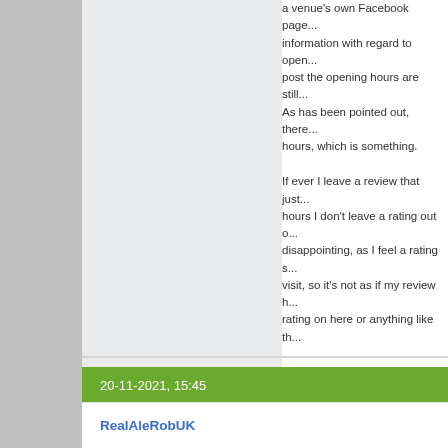a venue's own Facebook page... information with regard to open... post the opening hours are still... As has been pointed out, there... hours, which is something.

If ever I leave a review that just... hours I don't leave a rating out... disappointing, as I feel a rating... visit, so it's not as if my review... rating on here or anything like t...

It seems we all have slightly diff... review and what is not, but so lo... that may help others (and not a... see what harm has been done.

Petty reporting of reviews and t... forums could leave some less t... why they bother, and I think som... light than the original review th...

So, as stated in my review, I loo... another occasion and giving it a...
20-11-2021, 15:45
RealAleRobUK